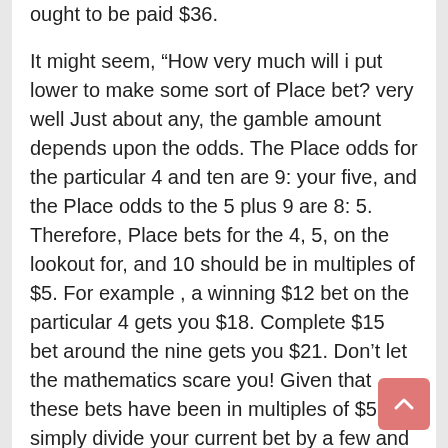ought to be paid $36.

It might seem, “How very much will i put lower to make some sort of Place bet? very well Just about any, the gamble amount depends upon the odds. The Place odds for the particular 4 and ten are 9: your five, and the Place odds to the 5 plus 9 are 8: 5. Therefore, Place bets for the 4, 5, on the lookout for, and 10 should be in multiples of $5. For example , a winning $12 bet on the particular 4 gets you $18. Complete $15 bet around the nine gets you $21. Don’t let the mathematics scare you! Given that these bets have been in multiples of $5, simply divide your current bet by a few and then multiply from the winning possibilities to determine your earning amount. So, regarding your $10 Place